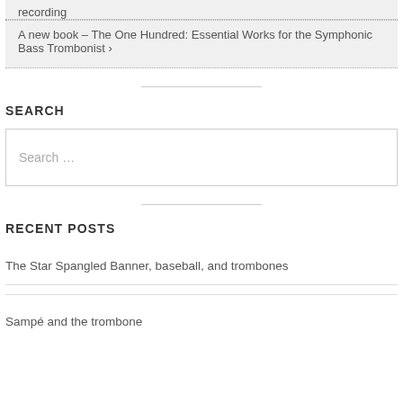recording
A new book – The One Hundred: Essential Works for the Symphonic Bass Trombonist ›
SEARCH
Search …
RECENT POSTS
The Star Spangled Banner, baseball, and trombones
Sampé and the trombone